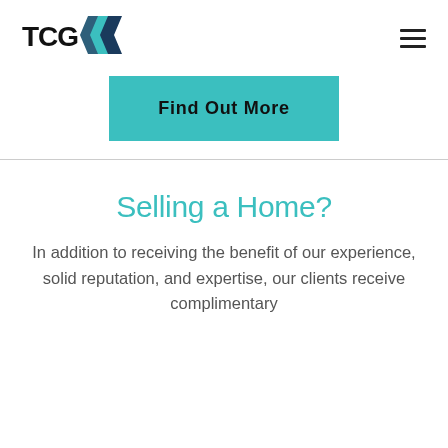[Figure (logo): TCG logo with teal and dark blue angular chevron/arrow graphic to the right of the letters TCG in bold black]
Find Out More
Selling a Home?
In addition to receiving the benefit of our experience, solid reputation, and expertise, our clients receive complimentary